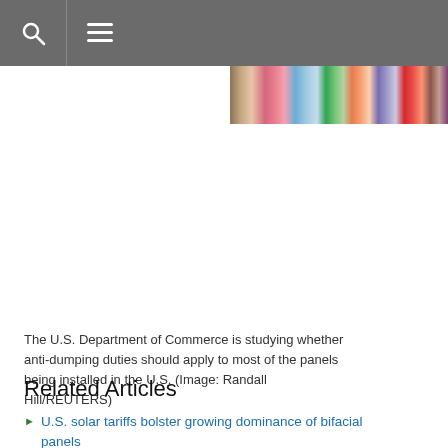[Figure (photo): Cropped photo of colorful shipping containers stacked together, showing pink, red, blue, green, and orange containers]
The U.S. Department of Commerce is studying whether anti-dumping duties should apply to most of the panels being installed in the U.S. (Image: Randall Hill/REUTERS)
Related Articles
U.S. solar tariffs bolster growing dominance of bifacial panels